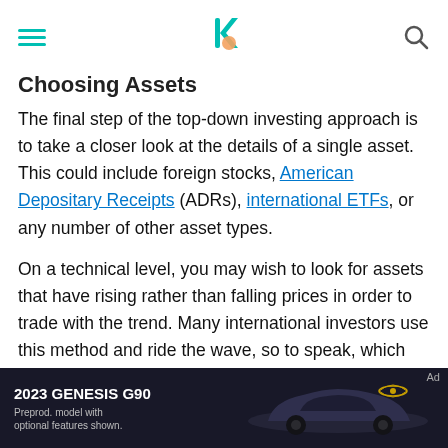[navigation header with hamburger menu, logo, search icon]
Choosing Assets
The final step of the top-down investing approach is to take a closer look at the details of a single asset. This could include foreign stocks, American Depositary Receipts (ADRs), international ETFs, or any number of other asset types.
On a technical level, you may wish to look for assets that have rising rather than falling prices in order to trade with the trend. Many international investors use this method and ride the wave, so to speak, which doesn't need expert level timing or massive amounts of research. You may miss out on early gains if you catch a trend, but it's often a safer way to invest when there
[Figure (photo): Advertisement banner for 2023 Genesis G90 luxury car. Dark background showing the Genesis G90 sedan. Text reads: '2023 GENESIS G90' and 'Preprod. model with optional features shown.' Genesis logo visible on right side.]